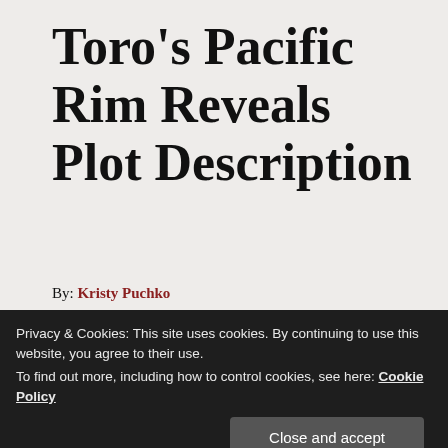Toro’s Pacific Rim Reveals Plot Description
By: Kristy Puchko
[Figure (photo): Dark promotional image for Pacific Rim showing a metallic emblem with a star and the text PACIFIC RIM lit up against a dark background]
Privacy & Cookies: This site uses cookies. By continuing to use this website, you agree to their use.
To find out more, including how to control cookies, see here: Cookie Policy
If you’re like me, you need little urging to see anything associated with